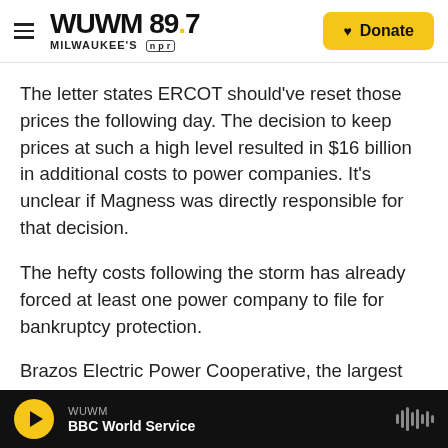WUWM 89.7 Milwaukee's NPR | Donate
The letter states ERCOT should've reset those prices the following day. The decision to keep prices at such a high level resulted in $16 billion in additional costs to power companies. It's unclear if Magness was directly responsible for that decision.
The hefty costs following the storm has already forced at least one power company to file for bankruptcy protection.
Brazos Electric Power Cooperative, the largest power cooperative in Texas filed for bankruptcy this week, citing a massive bill from ERCOT. The
WUWM | BBC World Service